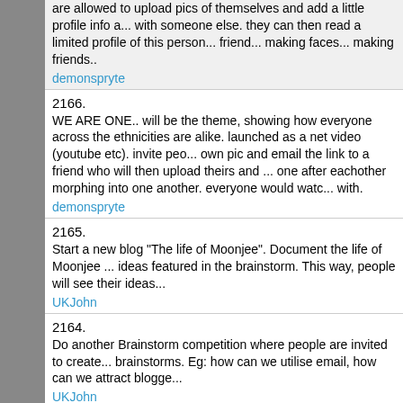are allowed to upload pics of themselves and add a little profile info a... with someone else. they can then read a limited profile of this person... friend... making faces... making friends..
demonspryte
2166. WE ARE ONE.. will be the theme, showing how everyone across the ethnicities are alike. launched as a net video (youtube etc). invite peo... own pic and email the link to a friend who will then upload theirs and ... one after eachother morphing into one another. everyone would watc... with.
demonspryte
2165. Start a new blog "The life of Moonjee". Document the life of Moonjee ... ideas featured in the brainstorm. This way, people will see their ideas...
UKJohn
2164. Do another Brainstorm competition where people are invited to create... brainstorms. Eg: how can we utilise email, how can we attract blogge...
UKJohn
2163. On the website post a list of options so that visitors can quickly do wh... want to make silly pics of my friends" or "I want to know what I'd look...
UKJohn
2162. a) How can Moonjee gain thousands of users by marketing online?: c... people can create blog posts about Moonjee without too much effort...
UKJohn